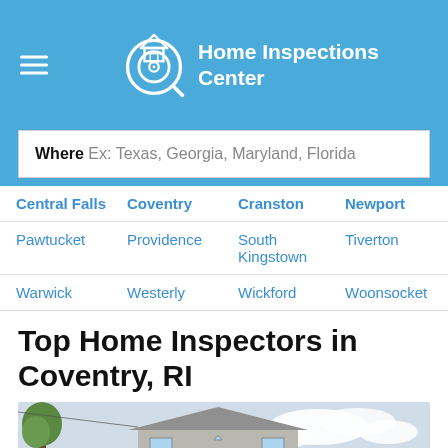Home Inspections Center
Where Ex: Texas, Georgia, Maryland, Florida
Central Falls
Coventry
Cranston
Newport
Pawtucket
Providence
South Kingstown
Tiverton
Warwick
Westerly
Wickford
Woonsocket
Top Home Inspectors in Coventry, RI
[Figure (photo): Photo of a house exterior with gray siding and a peaked roof, trees visible on the left, cloudy sky in background]